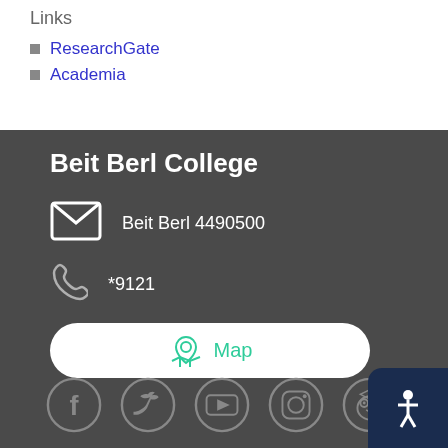Links
ResearchGate
Academia
Beit Berl College
Beit Berl 4490500
*9121
Map
[Figure (other): Social media icons row: Facebook, Twitter, YouTube, Instagram, Owl/education icon, Accessibility icon]